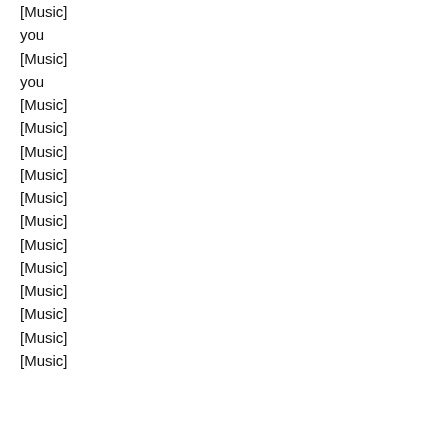[Music]
you
[Music]
you
[Music]
[Music]
[Music]
[Music]
[Music]
[Music]
[Music]
[Music]
[Music]
[Music]
[Music]
[Music]